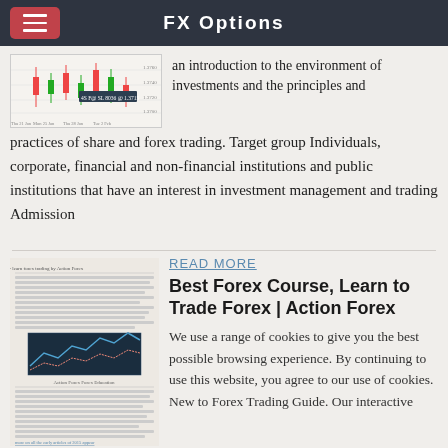FX Options
[Figure (screenshot): Small candlestick chart thumbnail showing forex price action]
an introduction to the environment of investments and the principles and practices of share and forex trading. Target group Individuals, corporate, financial and non-financial institutions and public institutions that have an interest in investment management and trading Admission
READ MORE
[Figure (screenshot): Thumbnail of an article page with text and a dark forex chart image]
Best Forex Course, Learn to Trade Forex | Action Forex
We use a range of cookies to give you the best possible browsing experience. By continuing to use this website, you agree to our use of cookies. New to Forex Trading Guide. Our interactive